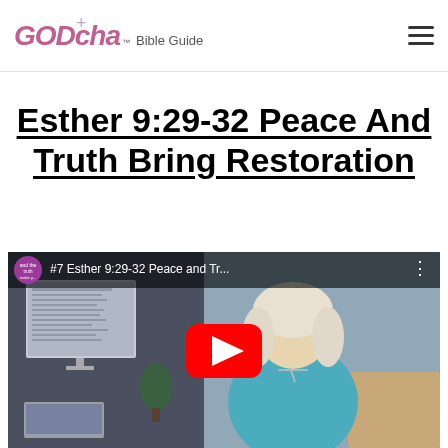GODcha™ Bible Guide
Esther 9:29-32 Peace And Truth Bring Restoration
[Figure (screenshot): YouTube embedded video thumbnail showing '#7 Esther 9:29-32 Peace and Tr...' with a red play button overlay, featuring a woman with blonde hair in a teal top sitting at a desk with a laptop and monitor in the background.]